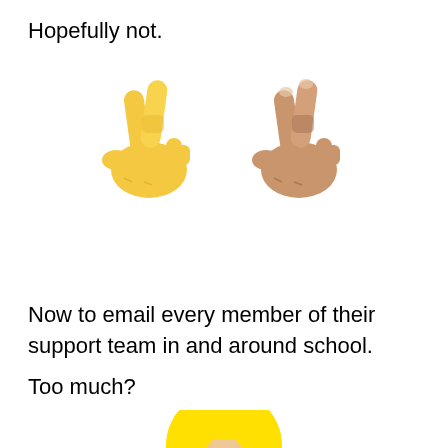Hopefully not.
[Figure (illustration): Two crossed fingers emoji side by side — one yellow (default skin tone) and one medium-light brown skin tone]
Now to email every member of their support team in and around school.
Too much?
[Figure (illustration): Woman emoji with long blonde hair, light skin tone, neutral expression — cropped at top of frame]